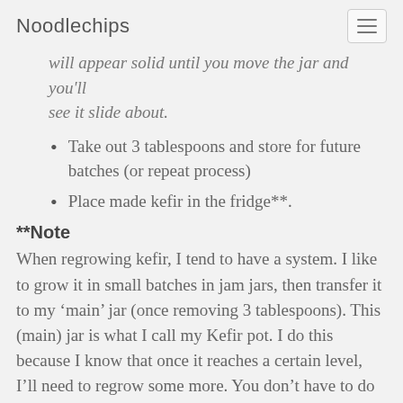Noodlechips
will appear solid until you move the jar and you'll see it slide about.
Take out 3 tablespoons and store for future batches (or repeat process)
Place made kefir in the fridge**.
**Note
When regrowing kefir, I tend to have a system. I like to grow it in small batches in jam jars, then transfer it to my ‘main’ jar (once removing 3 tablespoons). This (main) jar is what I call my Kefir pot. I do this because I know that once it reaches a certain level, I’ll need to regrow some more. You don’t have to do this bit, you can store your own kefir in as many jars as you like, as long as you keep it refrigerated once its done. I just want you to be aware that you don’t have to worry about mixing up different batches.